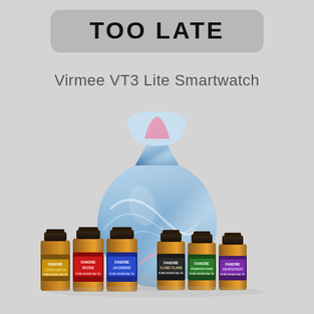TOO LATE
Virmee VT3 Lite Smartwatch
[Figure (photo): A blue marbled glass diffuser vase with a wide round bottom narrowing to a slim neck that flares open at the top, with pink and white swirl accents. In front of it are six amber glass essential oil bottles with colored labels: CINNAMON (dark gold label), ROSE (red label), JASMINE (blue label), YLANG YLANG (black label), FRANKINCENSE (green label), GRAPEFRUIT (purple label). All bottles are branded FANORE and labeled Pure Essential Oil.]